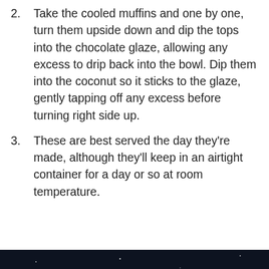2. Take the cooled muffins and one by one, turn them upside down and dip the tops into the chocolate glaze, allowing any excess to drip back into the bowl. Dip them into the coconut so it sticks to the glaze, gently tapping off any excess before turning right side up.
3. These are best served the day they're made, although they'll keep in an airtight container for a day or so at room temperature.
[Figure (illustration): Dark space-themed illustration with an astronaut/figure floating in a starry background. 'SHE CAN STEM' text overlaid at the bottom in bold white letters on dark background. A close/dismiss button with X symbol in bottom right area.]